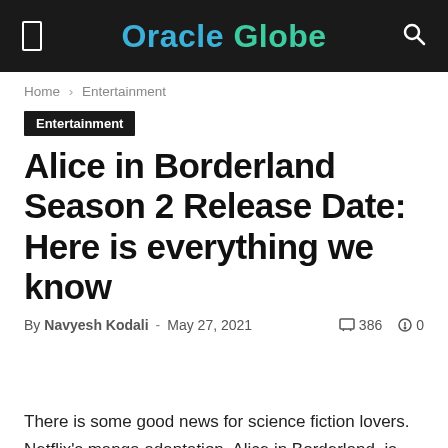Oracle Globe
Home › Entertainment
Entertainment
Alice in Borderland Season 2 Release Date: Here is everything we know
By Navyesh Kodali - May 27, 2021  386  0
There is some good news for science fiction lovers. Netflix's manga adaptation, Alice in Borderland, is landing soon on the small screens. Here are the complete updates.